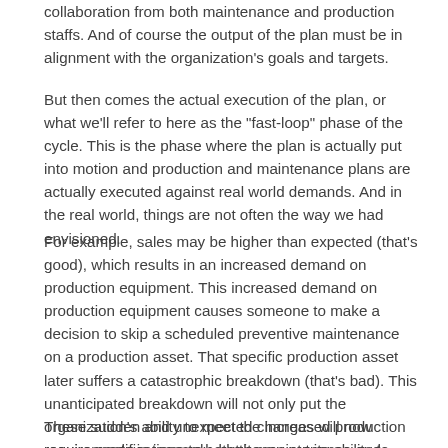collaboration from both maintenance and production staffs. And of course the output of the plan must be in alignment with the organization's goals and targets.
But then comes the actual execution of the plan, or what we'll refer to here as the "fast-loop" phase of the cycle. This is the phase where the plan is actually put into motion and production and maintenance plans are actually executed against real world demands. And in the real world, things are not often the way we had envisioned.
For example, sales may be higher than expected (that's good), which results in an increased demand on production equipment. This increased demand on production equipment causes someone to make a decision to skip a scheduled preventive maintenance on a production asset. That specific production asset later suffers a catastrophic breakdown (that's bad). This unanticipated breakdown will not only put the organization's ability to meet the increased production requirements in jeopardy, but it may put its ability to meet the original production requirements at risk as well.
These sudden and unexpected changes will now require modifications to both the maintenance and production